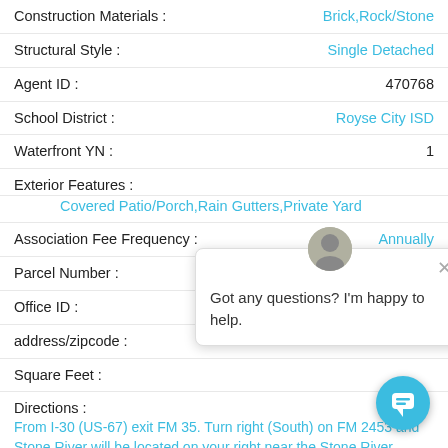Construction Materials : Brick,Rock/Stone
Structural Style : Single Detached
Agent ID : 470768
School District : Royse City ISD
Waterfront YN : 1
Exterior Features :
Covered Patio/Porch,Rain Gutters,Private Yard
Association Fee Frequency : Annually
Parcel Number : 108053
Office ID : VISI02AR
address/zipcode :
Square Feet :
Directions :
From I-30 (US-67) exit FM 35. Turn right (South) on FM 2453 and Stone River will be located on your right near the Stone River Country Club.
Association Fee : $3__